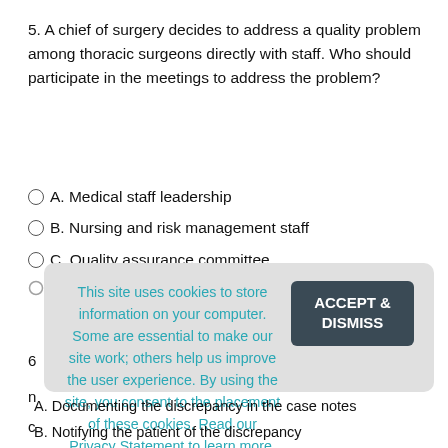5. A chief of surgery decides to address a quality problem among thoracic surgeons directly with staff. Who should participate in the meetings to address the problem?
A. Medical staff leadership
B. Nursing and risk management staff
C. Quality assurance committee
[Figure (screenshot): Cookie consent overlay with text: 'This site uses cookies to store information on your computer. Some are essential to make our site work; others help us improve the user experience. By using the site, you consent to the placement of these cookies. Read our Privacy Statement to learn more.' and an 'ACCEPT & DISMISS' button.]
A. Documenting the discrepancy in the case notes
B. Notifying the patient of the discrepancy